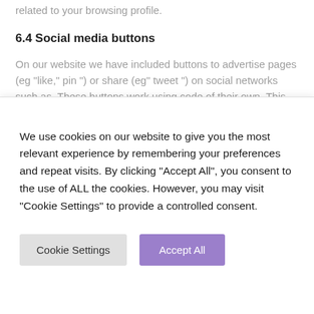related to your browsing profile.
6.4 Social media buttons
On our website we have included buttons to advertise pages (eg “like,” pin ”) or share (eg” tweet ”) on social networks such as. These buttons work using code of their own. This code embed cookies. These social media buttons can store and process certain information, so an ad may be shown to you personalized.
Please read the privacy policy of these social networks
We use cookies on our website to give you the most relevant experience by remembering your preferences and repeat visits. By clicking “Accept All”, you consent to the use of ALL the cookies. However, you may visit “Cookie Settings” to provide a controlled consent.